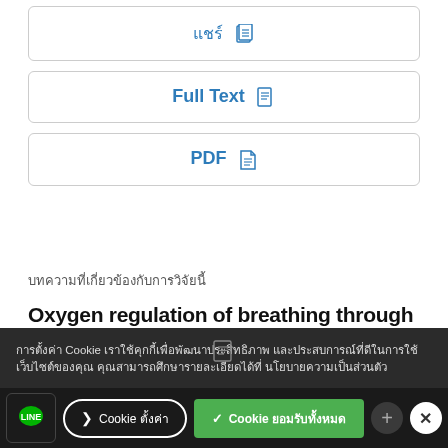แชร์ [icon]
Full Text [icon]
PDF [icon]
บทความที่เกี่ยวข้องกับการวิจัยนี้
Oxygen regulation of breathing through an olfactory receptor activated by lactate
In addition to its role in olfaction, Olfr78 is involved in sensing hypoxia.
doi: 10.1038/nature15721
การตั้งค่า Cookie เราใช้คุกกี้เพื่อพัฒนาประสิทธิภาพ และประสบการณ์ที่ดีในการใช้เว็บไซต์ของคุณ คุณสามารถศึกษารายละเอียดได้ที่ นโยบายความเป็นส่วนตัว
❯ Cookie ตั้งค่า | ✓ Cookie ยอมรับทั้งหมด